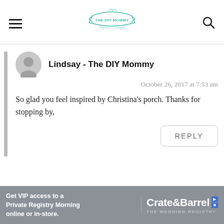THE DIY MOMMY
Lindsay - The DIY Mommy
October 26, 2017 at 7:53 am
So glad you feel inspired by Christina's porch. Thanks for stopping by,
REPLY
[Figure (infographic): Advertisement banner for Crate & Barrel Wedding Registry. Text reads: Get VIP access to a Private Registry Morning online or in-store. Crate&Barrel THE WEDDING REGISTRY]